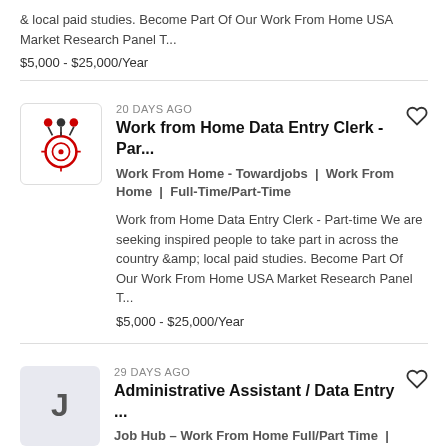& local paid studies. Become Part Of Our Work From Home USA Market Research Panel T...
$5,000 - $25,000/Year
20 DAYS AGO
Work from Home Data Entry Clerk - Par...
Work From Home - Towardjobs | Work From Home | Full-Time/Part-Time
Work from Home Data Entry Clerk - Part-time We are seeking inspired people to take part in across the country &amp; local paid studies. Become Part Of Our Work From Home USA Market Research Panel T...
$5,000 - $25,000/Year
29 DAYS AGO
Administrative Assistant / Data Entry ...
Job Hub – Work From Home Full/Part Time | Quincy, MA | Full-Time/Part-Time
Administrative Assistant Part time – Work from Home – Data Entry Clerk – Administrative Assistant – Online Remote Operate At Home Position(Part-time/ Full-time) Are you a data entry clerk, adminis...